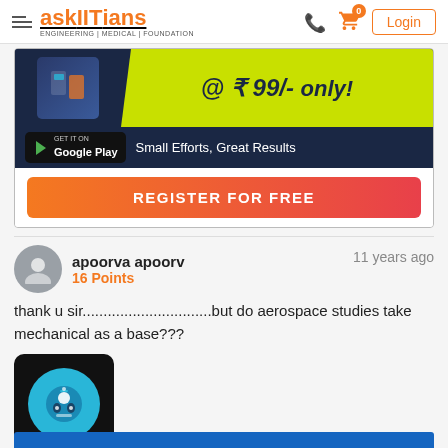askIITians ENGINEERING | MEDICAL | FOUNDATION — Login
[Figure (screenshot): Advertisement banner for askIITians app: @ ₹99/- only!, Google Play button, Small Efforts, Great Results, REGISTER FOR FREE button]
apoorva apoorv   16 Points   11 years ago
thank u sir...............................but do aerospace studies take mechanical as a base???
[Figure (illustration): Robot/AI chatbot icon — circular blue robot face on black rounded square background]